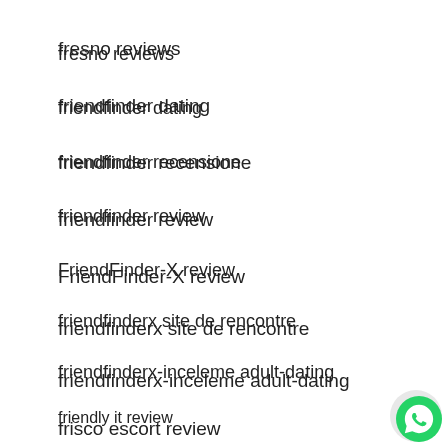fresno reviews
friendfinder dating
friendfinder recensione
friendfinder review
FriendFinder-X review
friendfinderx site de rencontre
friendfinderx-inceleme adult-dating
friendly it review
frisco escort review
fruzo cs review